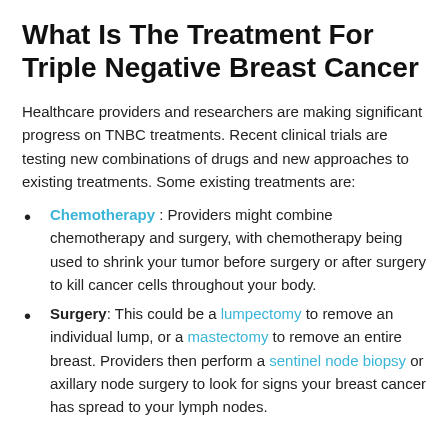What Is The Treatment For Triple Negative Breast Cancer
Healthcare providers and researchers are making significant progress on TNBC treatments. Recent clinical trials are testing new combinations of drugs and new approaches to existing treatments. Some existing treatments are:
Chemotherapy : Providers might combine chemotherapy and surgery, with chemotherapy being used to shrink your tumor before surgery or after surgery to kill cancer cells throughout your body.
Surgery: This could be a lumpectomy to remove an individual lump, or a mastectomy to remove an entire breast. Providers then perform a sentinel node biopsy or axillary node surgery to look for signs your breast cancer has spread to your lymph nodes.